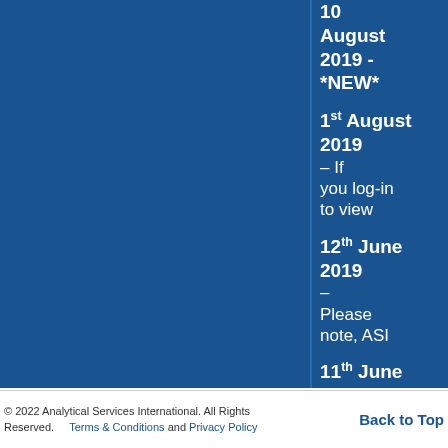10 August 2019 - *NEW*
1st August 2019 – If you log-in to view
12th June 2019 – Please note, ASI
11th June 2019 – Please ensure that
© 2022 Analytical Services International. All Rights Reserved. Terms & Conditions and Privacy Policy | Back to Top